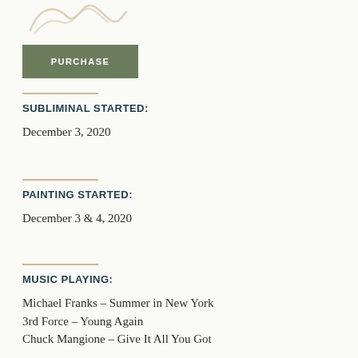[Figure (logo): Cursive/script logo or signature in light beige/cream color]
PURCHASE
SUBLIMINAL STARTED:
December 3, 2020
PAINTING STARTED:
December 3 & 4, 2020
MUSIC PLAYING:
Michael Franks – Summer in New York
3rd Force – Young Again
Chuck Mangione – Give It All You Got